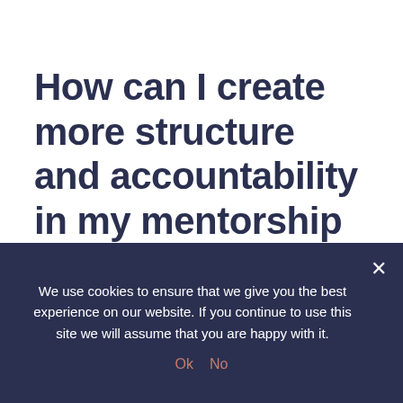How can I create more structure and accountability in my mentorship relationship?
This blog provides a tool for mentors and mentees to create more structure and check-ins within their relationship if this is something the mentor and mentee want to incorporate
We use cookies to ensure that we give you the best experience on our website. If you continue to use this site we will assume that you are happy with it.
Ok   No